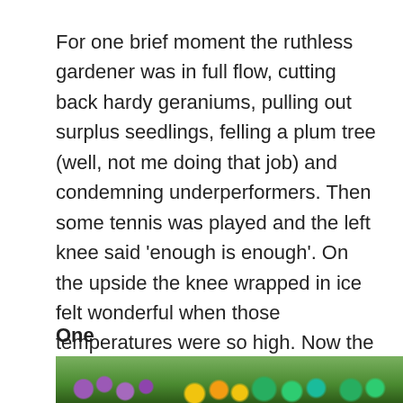For one brief moment the ruthless gardener was in full flow, cutting back hardy geraniums, pulling out surplus seedlings, felling a plum tree (well, not me doing that job) and condemning underperformers. Then some tennis was played and the left knee said ‘enough is enough’. On the upside the knee wrapped in ice felt wonderful when those temperatures were so high. Now the frustrated gardener is hanging around staring through the windows. At least the rain is taking one job off the ‘to do’ list and the garden is teeming with baby birds to offer distraction. Here’s six from the garden for this week.
One
[Figure (photo): Partial view of a garden with colourful flowers and green foliage, cropped at bottom of page]